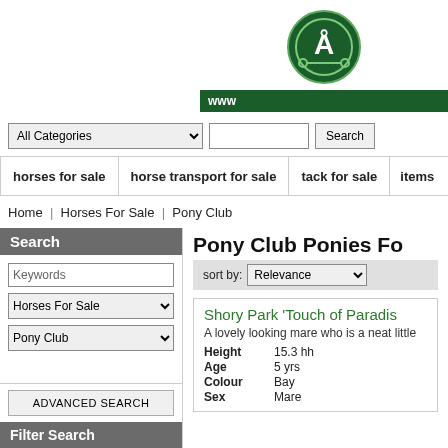[Figure (logo): Green circular logo with letter A and dots, on dark green background with 'www' text]
All Categories | Search bar | horses for sale | horse transport for sale | tack for sale | items
Home | Horses For Sale | Pony Club
Search
Keywords input, Horses For Sale dropdown, Pony Club dropdown, ADVANCED SEARCH button, Filter Search header
Pony Club Ponies Fo
sort by: Relevance
Shory Park 'Touch of Paradis'
A lovely looking mare who is a neat little
| Field | Value |
| --- | --- |
| Height | 15.3 hh |
| Age | 5 yrs |
| Colour | Bay |
| Sex | Mare |